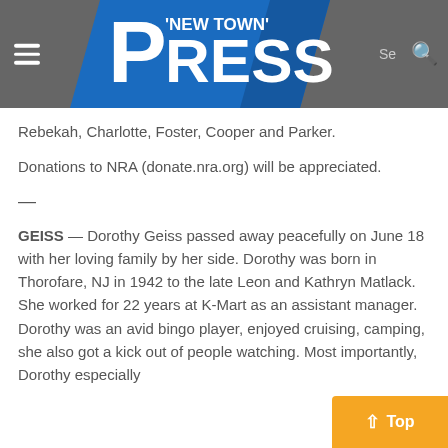'New Town' Press
Rebekah, Charlotte, Foster, Cooper and Parker.
Donations to NRA (donate.nra.org) will be appreciated.
—
GEISS — Dorothy Geiss passed away peacefully on June 18 with her loving family by her side. Dorothy was born in Thorofare, NJ in 1942 to the late Leon and Kathryn Matlack. She worked for 22 years at K-Mart as an assistant manager. Dorothy was an avid bingo player, enjoyed cruising, camping, she also got a kick out of people watching. Most importantly, Dorothy especially